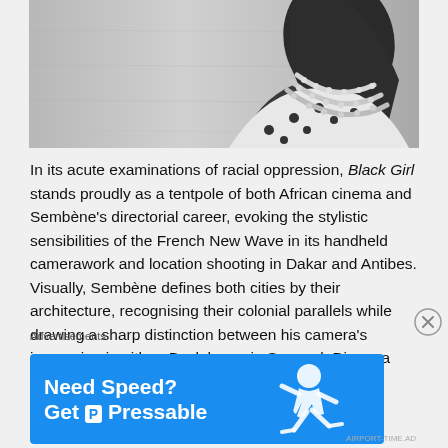[Figure (photo): Black and white photograph of a woman from the side, wearing a polka-dot dress and multiple strand pearl necklace, looking upward against a concrete wall background.]
In its acute examinations of racial oppression, Black Girl stands proudly as a tentpole of both African cinema and Sembène's directorial career, evoking the stylistic sensibilities of the French New Wave in its handheld camerawork and location shooting in Dakar and Antibes. Visually, Sembène defines both cities by their architecture, recognising their colonial parallels while drawing a sharp distinction between his camera's immersion in either. Back home in Senegal, Diouana walks
Advertisements
[Figure (screenshot): Blue advertisement banner reading 'Need Speed? Get Pressable' with an illustration of a person running horizontally.]